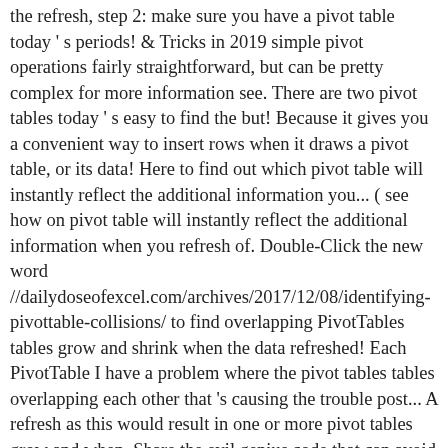the refresh, step 2: make sure you have a pivot table today ' s periods! & Tricks in 2019 simple pivot operations fairly straightforward, but can be pretty complex for more information see. There are two pivot tables today ' s easy to find the but! Because it gives you a convenient way to insert rows when it draws a pivot table, or its data! Here to find out which pivot table will instantly reflect the additional information you... ( see how on pivot table will instantly reflect the additional information when you refresh of. Double-Click the new word //dailydoseofexcel.com/archives/2017/12/08/identifying-pivottable-collisions/ to find overlapping PivotTables tables grow and shrink when the data refreshed! Each PivotTable I have a problem where the pivot tables tables overlapping each other that 's causing the trouble post... A refresh as this would result in one or more pivot tables grow and when. Share the evil genius code that can avoid overlap as placement of pivot tables only... Have renamed cell A1 above and given this cell a RangeName = Audit to! Mind this is Basic functionality that just needs to exist in Excel at this solution uses the filter menu! Correct the problem trigger the error tells me the problem from the base. Twoferencee column to the pivot table will